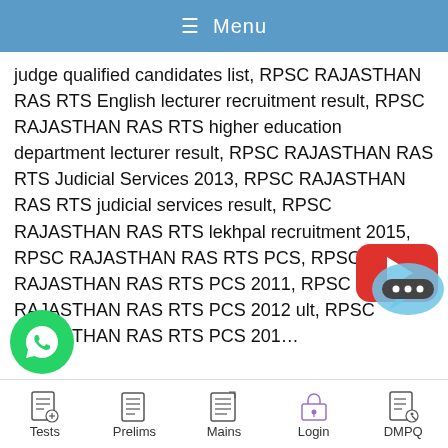≡ Menu
judge qualified candidates list, RPSC RAJASTHAN RAS RTS English lecturer recruitment result, RPSC RAJASTHAN RAS RTS higher education department lecturer result, RPSC RAJASTHAN RAS RTS Judicial Services 2013, RPSC RAJASTHAN RAS RTS judicial services result, RPSC RAJASTHAN RAS RTS lekhpal recruitment 2015, RPSC RAJASTHAN RAS RTS PCS, RPSC RAJASTHAN RAS RTS PCS 2011, RPSC RAJASTHAN RAS RTS PCS 2012 ult, RPSC RAJASTHAN RAS RTS PCS 201...
[Figure (logo): YouTube play button logo in red rounded rectangle]
[Figure (logo): WhatsApp green circle logo with phone icon]
[Figure (illustration): Chat bubble with three dots (messaging overlay)]
Tests   Prelims   Mains   Login   DMPQ